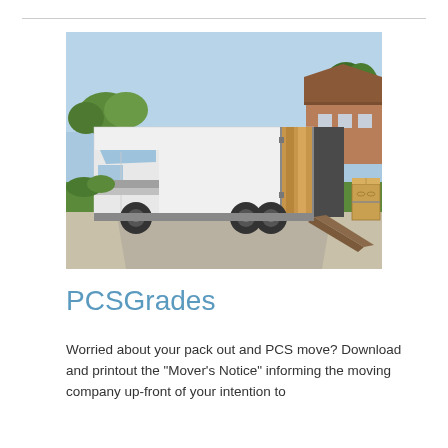[Figure (photo): A white moving truck parked in a residential driveway with its rear doors open, a loading ramp extended, and cardboard boxes visible beside the truck. A house and green lawn are visible in the background.]
PCSGrades
Worried about your pack out and PCS move? Download and printout the "Mover's Notice" informing the moving company up-front of your intention to